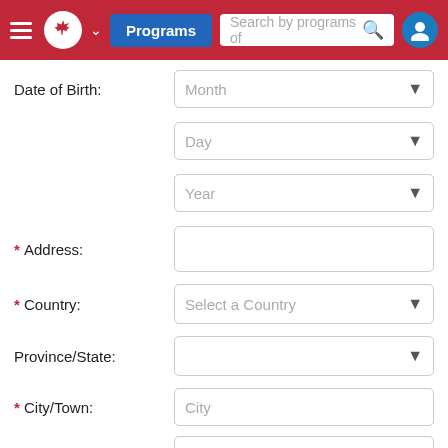Programs  Search by programs of
Date of Birth:
Month
Day
Year
* Address:
* Country:  Select a Country
Province/State:
* City/Town:  City
Postal Code:
* Phone: (include area  Phone